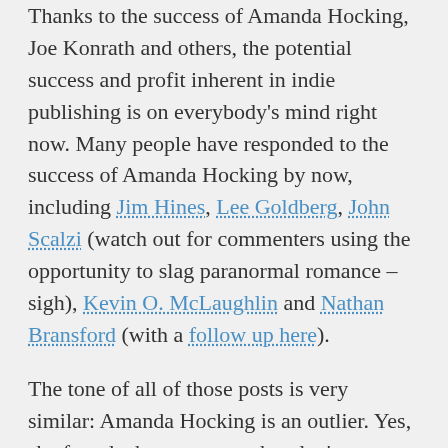Thanks to the success of Amanda Hocking, Joe Konrath and others, the potential success and profit inherent in indie publishing is on everybody's mind right now. Many people have responded to the success of Amanda Hocking by now, including Jim Hines, Lee Goldberg, John Scalzi (watch out for commenters using the opportunity to slag paranormal romance – sigh), Kevin O. McLaughlin and Nathan Bransford (with a follow up here).
The tone of all of those posts is very similar: Amanda Hocking is an outlier. Yes, she found a huge success, but don't expect to do the same. And don't write off traditional publishing just yet. Indeed, this is even what Amanda Hocking herself says.
And you know what? All of them are right. Not every indie author is Amanda Hocking or Joe Konrath. But there are many more indie authors out there aside...